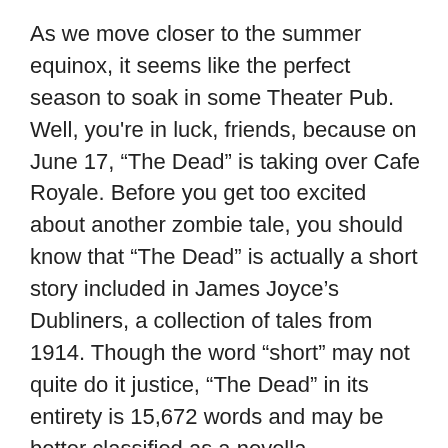As we move closer to the summer equinox, it seems like the perfect season to soak in some Theater Pub. Well, you're in luck, friends, because on June 17, “The Dead” is taking over Cafe Royale. Before you get too excited about another zombie tale, you should know that “The Dead” is actually a short story included in James Joyce’s Dubliners, a collection of tales from 1914. Though the word “short” may not quite do it justice, “The Dead” in its entirety is 15,672 words and may be better classified as a novella.
The plot surrounds Gabriel Conroy on a January evening in 1904. More specifically, it’s the annual dance and dinner hosted by the Morkan sisters. But without giving too much away, as the story will reveal itself under the direction of Jeremy Cole, here are a few fun facts about James Joyce, the holiday known as Bloomsday, and how it can help you